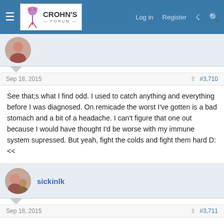Crohn's Forum — Log in  Register
[Figure (screenshot): Cropped user avatar (female profile photo) for first post]
Sep 18, 2015   #3,710
See that;s what I find odd. I used to catch anything and everything before I was diagnosed. On remicade the worst I've gotten is a bad stomach and a bit of a headache. I can't figure that one out because I would have thought I'd be worse with my immune system supressed. But yeah, fight the colds and fight them hard D:<<
[Figure (photo): User avatar for sickinlk (female profile photo)]
sickinlk
Sep 18, 2015   #3,711
Yay I just got word I'm getting back on remicade after being off it for 4 months. I thought I would give it a go but started flaring as